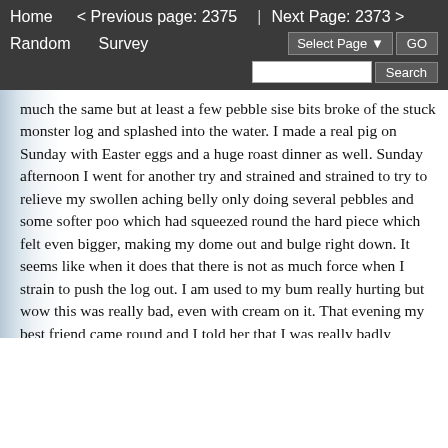Home   < Previous page: 2375   |   Next Page: 2373 >   Random   Survey   Select Page  GO   Search
much the same but at least a few pebble sise bits broke of the stuck monster log and splashed into the water. I made a real pig on Sunday with Easter eggs and a huge roast dinner as well. Sunday afternoon I went for another try and strained and strained to try to relieve my swollen aching belly only doing several pebbles and some softer poo which had squeezed round the hard piece which felt even bigger, making my dome out and bulge right down. It seems like when it does that there is not as much force when I strain to push the log out. I am used to my bum really hurting but wow this was really bad, even with cream on it. That evening my best friend came round and I told her that I was really badly constipated, She said that she had been untill that afternoon when she had managed to do a 10 inch solid hard log that took and hour and half to come out. We were going out but I said I wanted to try before we went so I put on a pair of high boots and she came in with me to the bathroom. She pressed on my belly as I strained and she said that she could see my bum bulging down below my cheeks. As I